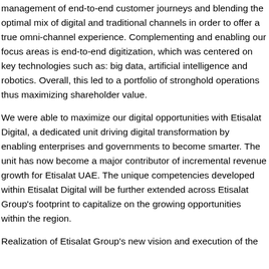management of end-to-end customer journeys and blending the optimal mix of digital and traditional channels in order to offer a true omni-channel experience. Complementing and enabling our focus areas is end-to-end digitization, which was centered on key technologies such as: big data, artificial intelligence and robotics. Overall, this led to a portfolio of stronghold operations thus maximizing shareholder value.
We were able to maximize our digital opportunities with Etisalat Digital, a dedicated unit driving digital transformation by enabling enterprises and governments to become smarter. The unit has now become a major contributor of incremental revenue growth for Etisalat UAE. The unique competencies developed within Etisalat Digital will be further extended across Etisalat Group's footprint to capitalize on the growing opportunities within the region.
Realization of Etisalat Group's new vision and execution of the